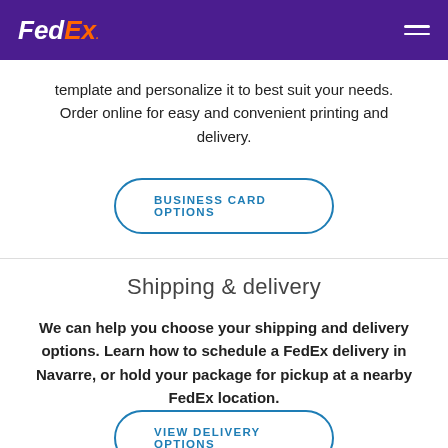FedEx
template and personalize it to best suit your needs. Order online for easy and convenient printing and delivery.
BUSINESS CARD OPTIONS
Shipping & delivery
We can help you choose your shipping and delivery options. Learn how to schedule a FedEx delivery in Navarre, or hold your package for pickup at a nearby FedEx location.
VIEW DELIVERY OPTIONS